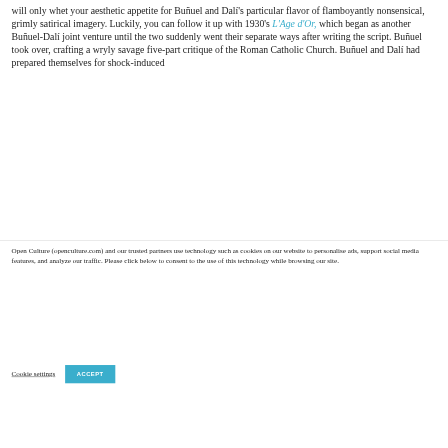will only whet your aesthetic appetite for Buñuel and Dalí's particular flavor of flamboyantly nonsensical, grimly satirical imagery. Luckily, you can follow it up with 1930's L'Age d'Or, which began as another Buñuel-Dalí joint venture until the two suddenly went their separate ways after writing the script. Buñuel took over, crafting a wryly savage five-part critique of the Roman Catholic Church. Buñuel and Dalí had prepared themselves for shock-induced
Open Culture (openculture.com) and our trusted partners use technology such as cookies on our website to personalise ads, support social media features, and analyze our traffic. Please click below to consent to the use of this technology while browsing our site.
Cookie settings   ACCEPT